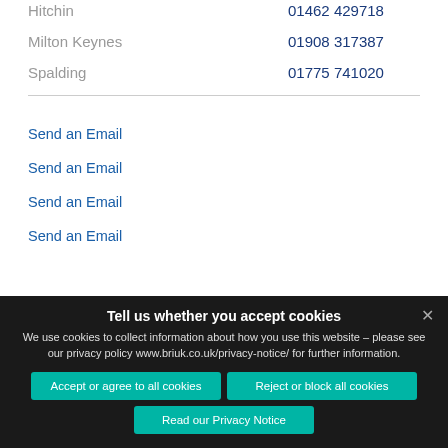Hitchin  01462 429718
Milton Keynes  01908 317387
Spalding  01775 741020
Send an Email
Send an Email
Send an Email
Send an Email
Tell us whether you accept cookies
We use cookies to collect information about how you use this website – please see our privacy policy www.briuk.co.uk/privacy-notice/ for further information.
Accept or agree to all cookies
Reject or block all cookies
Read our Privacy Notice